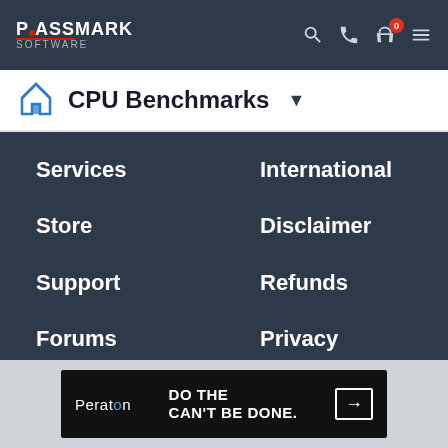PassMark Software
CPU Benchmarks
Services
International
Store
Disclaimer
Support
Refunds
Forums
Privacy
Social
[Figure (screenshot): Peraton advertisement banner: 'DO THE CAN'T BE DONE.' with arrow button]